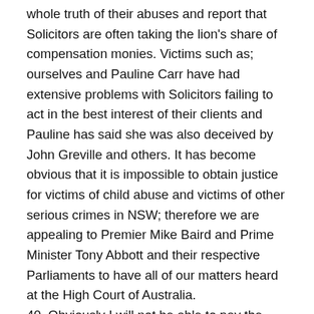whole truth of their abuses and report that Solicitors are often taking the lion's share of compensation monies. Victims such as; ourselves and Pauline Carr have had extensive problems with Solicitors failing to act in the best interest of their clients and Pauline has said she was also deceived by John Greville and others. It has become obvious that it is impossible to obtain justice for victims of child abuse and victims of other serious crimes in NSW; therefore we are appealing to Premier Mike Baird and Prime Minister Tony Abbott and their respective Parliaments to have all of our matters heard at the High Court of Australia.
40. Obviously I will not be able to pay the illegally gained fines, demanded to be paid by the Office of State Revenue because it is well known that the fines were generated illegally and of course in my position as carer for victims of